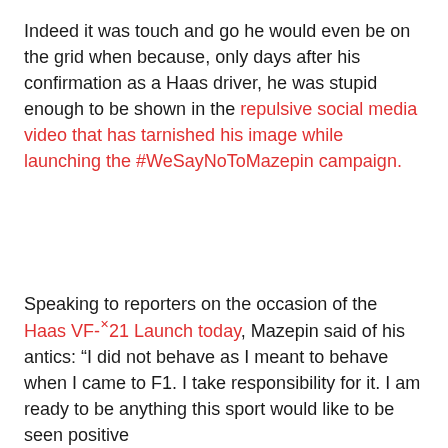Indeed it was touch and go he would even be on the grid when because, only days after his confirmation as a Haas driver, he was stupid enough to be shown in the repulsive social media video that has tarnished his image while launching the #WeSayNoToMazepin campaign.
Speaking to reporters on the occasion of the Haas VF-21 Launch today, Mazepin said of his antics: “I did not behave as I meant to behave when I came to F1. I take responsibility for it. I am ready to be anything this sport would like to be seen positive...